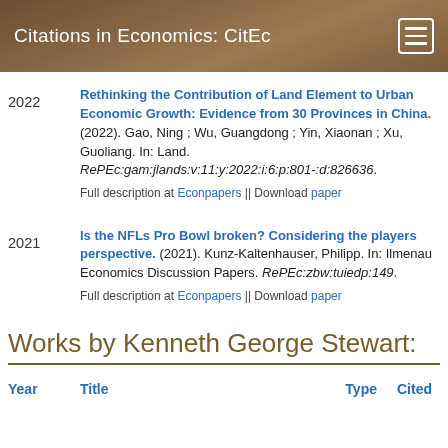Citations in Economics: CitEc
Rethinking the Contribution of Land Element to Urban Economic Growth: Evidence from 30 Provinces in China. (2022). Gao, Ning ; Wu, Guangdong ; Yin, Xiaonan ; Xu, Guoliang. In: Land. RePEc:gam:jlands:v:11:y:2022:i:6:p:801-:d:826636. Full description at Econpapers || Download paper
Is the NFLs Pro Bowl broken? Considering the players perspective. (2021). Kunz-Kaltenhauser, Philipp. In: Ilmenau Economics Discussion Papers. RePEc:zbw:tuiedp:149. Full description at Econpapers || Download paper
Works by Kenneth George Stewart:
| Year | Title | Type | Cited |
| --- | --- | --- | --- |